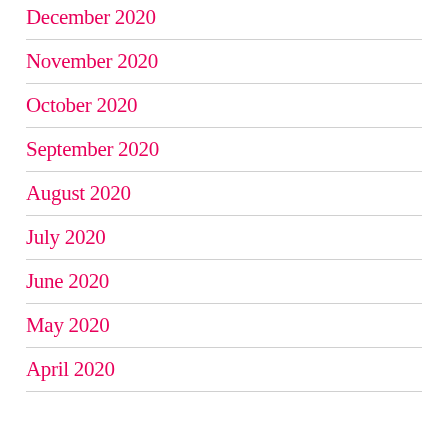December 2020
November 2020
October 2020
September 2020
August 2020
July 2020
June 2020
May 2020
April 2020